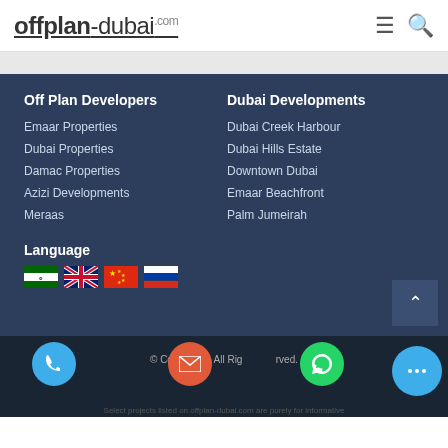offplan-dubai.com
Off Plan Developers
Emaar Properties
Dubai Properties
Damac Properties
Azizi Developments
Meraas
Dubai Developments
Dubai Creek Harbour
Dubai Hills Estate
Downtown Dubai
Emaar Beachfront
Palm Jumeirah
Language
[Figure (illustration): Flag icons: Arabic, UK, China, Russia]
© Copy 2021. All Rights Reserved. Select projects listed on offplan-dubai.com are purely for informative